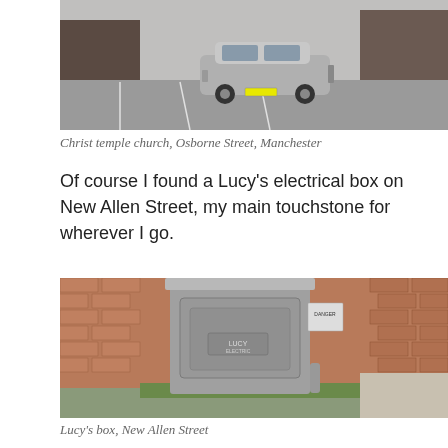[Figure (photo): A silver car parked in a car park area outside a brick building, likely Christ temple church on Osborne Street, Manchester.]
Christ temple church, Osborne Street, Manchester
Of course I found a Lucy's electrical box on New Allen Street, my main touchstone for wherever I go.
[Figure (photo): A grey metal Lucy's electrical utility box standing against a brick wall with grass and weeds around its base, on New Allen Street.]
Lucy's box, New Allen Street